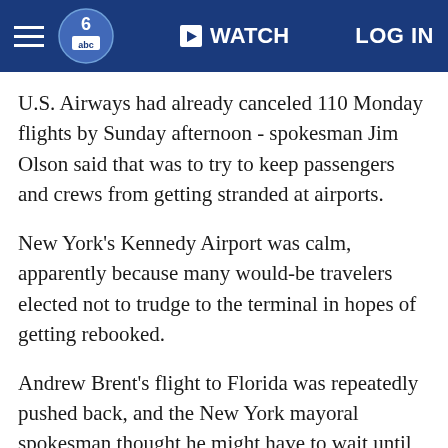WATCH  LOG IN
U.S. Airways had already canceled 110 Monday flights by Sunday afternoon - spokesman Jim Olson said that was to try to keep passengers and crews from getting stranded at airports.
New York's Kennedy Airport was calm, apparently because many would-be travelers elected not to trudge to the terminal in hopes of getting rebooked.
Andrew Brent's flight to Florida was repeatedly pushed back, and the New York mayoral spokesman thought he might have to wait until Monday to meet up with his wife and son for vacation. But he added, "I'll get down there eventually so I'm not terribly worried."
Amtrak, meanwhile, canceled train service from New York